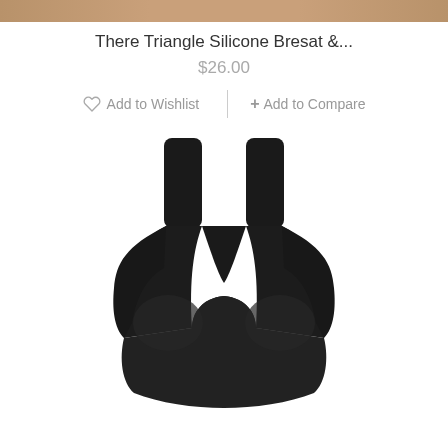[Figure (photo): Top portion of a tan/brown background e-commerce product image strip at the top of the page]
There Triangle Silicone Bresat &...
$26.00
♡  Add to Wishlist   |   + Add to Compare
[Figure (photo): Black sports bra / bralette product photo on white background]